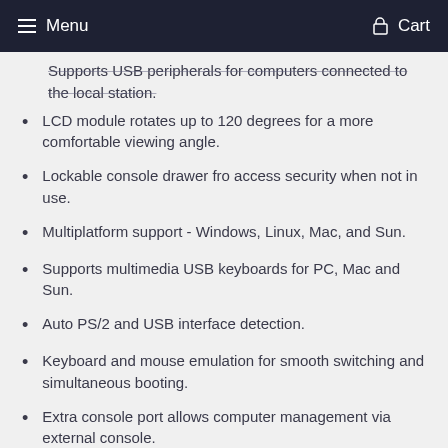Menu   Cart
Supports USB peripherals for computers connected to the local station.
LCD module rotates up to 120 degrees for a more comfortable viewing angle.
Lockable console drawer fro access security when not in use.
Multiplatform support - Windows, Linux, Mac, and Sun.
Supports multimedia USB keyboards for PC, Mac and Sun.
Auto PS/2 and USB interface detection.
Keyboard and mouse emulation for smooth switching and simultaneous booting.
Extra console port allows computer management via external console.
Compatible with KVM Switches:ACS1208A, ACS1216A,CS1708A,CS1716A.
Supports external USB mouse.